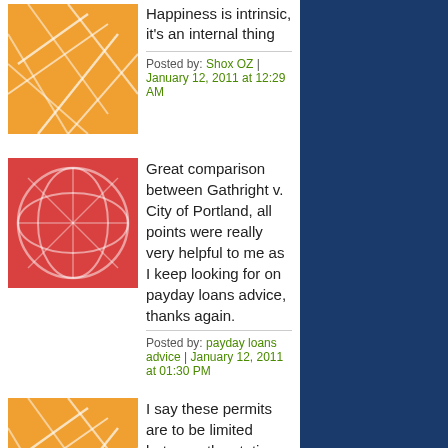[Figure (illustration): Orange avatar with white geometric line pattern]
Happiness is intrinsic, it's an internal thing
Posted by: Shox OZ | January 12, 2011 at 12:29 AM
[Figure (illustration): Red/pink avatar with white geometric line pattern]
Great comparison between Gathright v. City of Portland, all points were really very helpful to me as I keep looking for on payday loans advice, thanks again.
Posted by: payday loans advice | January 12, 2011 at 01:30 PM
[Figure (illustration): Orange avatar with white geometric line pattern]
I say these permits are to be limited between the stations. It must also depend on the type of